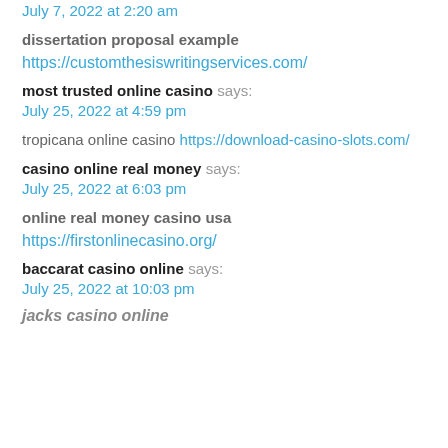July 7, 2022 at 2:20 am
dissertation proposal example https://customthesiswritingservices.com/
most trusted online casino says: July 25, 2022 at 4:59 pm
tropicana online casino https://download-casino-slots.com/
casino online real money says: July 25, 2022 at 6:03 pm
online real money casino usa https://firstonlinecasino.org/
baccarat casino online says: July 25, 2022 at 10:03 pm
jacks casino online